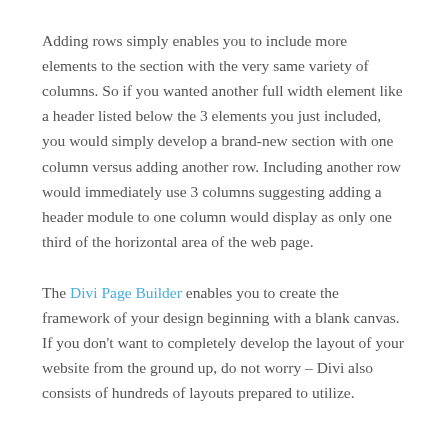Adding rows simply enables you to include more elements to the section with the very same variety of columns. So if you wanted another full width element like a header listed below the 3 elements you just included, you would simply develop a brand-new section with one column versus adding another row. Including another row would immediately use 3 columns suggesting adding a header module to one column would display as only one third of the horizontal area of the web page.
The Divi Page Builder enables you to create the framework of your design beginning with a blank canvas. If you don't want to completely develop the layout of your website from the ground up, do not worry – Divi also consists of hundreds of layouts prepared to utilize.